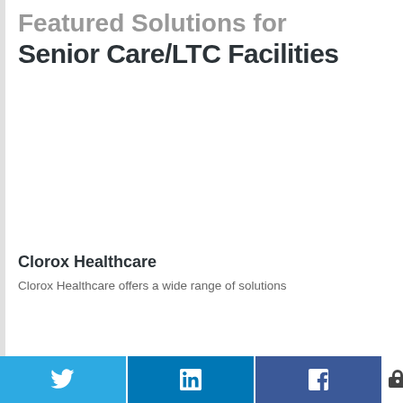Featured Solutions for Senior Care/LTC Facilities
Clorox Healthcare
Clorox Healthcare offers a wide range of solutions
[Figure (screenshot): Social share bar with Twitter, LinkedIn, and Facebook buttons, and a share count showing 0 SHARES]